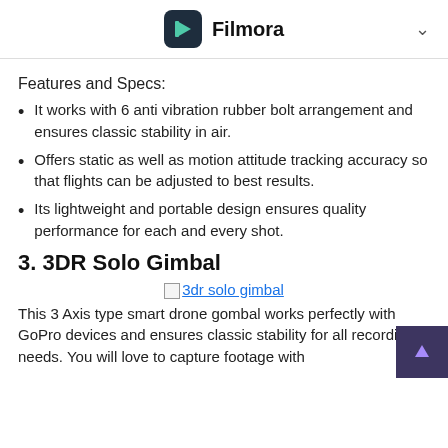Filmora
Features and Specs:
It works with 6 anti vibration rubber bolt arrangement and ensures classic stability in air.
Offers static as well as motion attitude tracking accuracy so that flights can be adjusted to best results.
Its lightweight and portable design ensures quality performance for each and every shot.
3. 3DR Solo Gimbal
[Figure (photo): Broken image placeholder for 3dr solo gimbal]
3dr solo gimbal
This 3 Axis type smart drone gombal works perfectly with GoPro devices and ensures classic stability for all recording needs. You will love to capture footage with